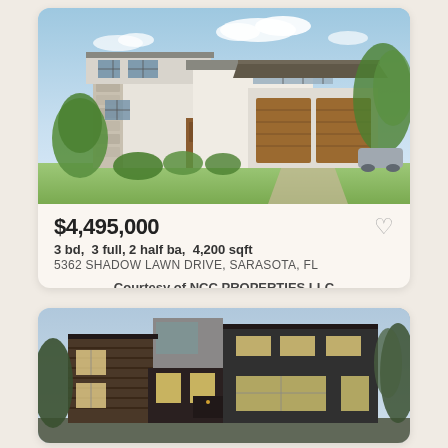[Figure (photo): Modern two-story luxury home with white stucco and stone facade, large windows, brown wood garage doors, lush green landscaping, blue sky with clouds]
$4,495,000
3 bd,  3 full, 2 half ba,  4,200 sqft
5362 SHADOW LAWN DRIVE, SARASOTA, FL
Courtesy of NCC PROPERTIES LLC
[Figure (photo): Modern two-story home with dark wood and gray exterior, large windows with warm interior lighting, contemporary architecture]